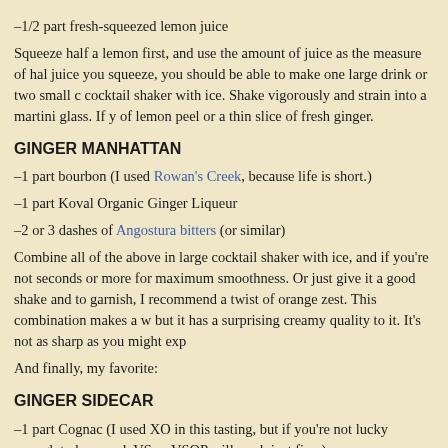–1/2 part fresh-squeezed lemon juice
Squeeze half a lemon first, and use the amount of juice as the measure of half. With however much juice you squeeze, you should be able to make one large drink or two small ones. Combine in a cocktail shaker with ice. Shake vigorously and strain into a martini glass. If you like, garnish with a twist of lemon peel or a thin slice of fresh ginger.
GINGER MANHATTAN
–1 part bourbon (I used Rowan's Creek, because life is short.)
–1 part Koval Organic Ginger Liqueur
–2 or 3 dashes of Angostura bitters (or similar)
Combine all of the above in large cocktail shaker with ice, and if you're not in a hurry, stir for 30 seconds or more for maximum smoothness. Or just give it a good shake and strain into a martini glass. to garnish, I recommend a twist of orange zest. This combination makes a wonderfully smooth cocktail, but it has a surprising creamy quality to it. It's not as sharp as you might exp
And finally, my favorite:
GINGER SIDECAR
–1 part Cognac (I used XO in this tasting, but if you're not lucky enough to have XO lying around, VS or VSOP will work just fine.)
–1 part Koval Organic Ginger Liqueur
–1/2 part fresh-squeezed lemon juice
Combine all of the above in a cocktail shaker with ice, stir or shake as is you